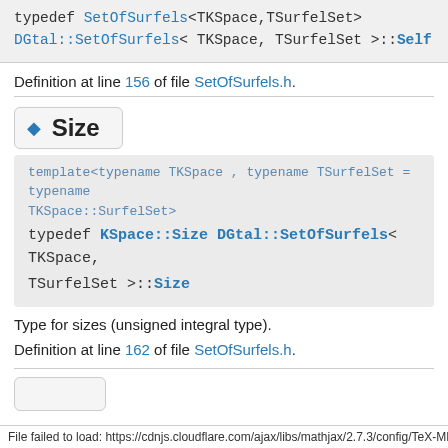typedef SetOfSurfels<TKSpace,TSurfelSet> DGtal::SetOfSurfels< TKSpace, TSurfelSet >::Self
Definition at line 156 of file SetOfSurfels.h.
◆ Size
template<typename TKSpace , typename TSurfelSet = typename TKSpace::SurfelSet>
typedef KSpace::Size DGtal::SetOfSurfels< TKSpace, TSurfelSet >::Size
Type for sizes (unsigned integral type).
Definition at line 162 of file SetOfSurfels.h.
File failed to load: https://cdnjs.cloudflare.com/ajax/libs/mathjax/2.7.3/config/TeX-MML-Al